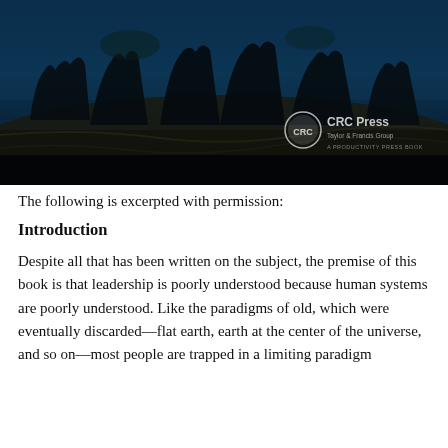[Figure (photo): Dark blue-tinted photograph of classical stone statues or relief figures on a rocky surface, with CRC Press / Taylor & Francis Group / A Productivity Press Book logo overlay in lower right corner.]
The following is excerpted with permission:
Introduction
Despite all that has been written on the subject, the premise of this book is that leadership is poorly understood because human systems are poorly understood. Like the paradigms of old, which were eventually discarded—flat earth, earth at the center of the universe, and so on—most people are trapped in a limiting paradigm